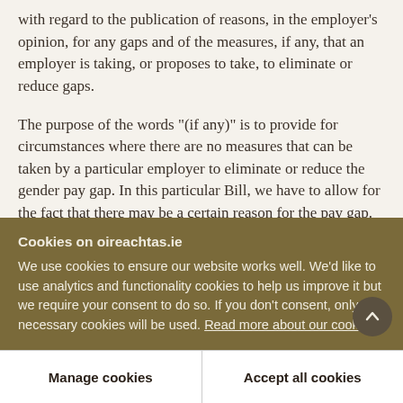with regard to the publication of reasons, in the employer's opinion, for any gaps and of the measures, if any, that an employer is taking, or proposes to take, to eliminate or reduce gaps.
The purpose of the words "(if any)" is to provide for circumstances where there are no measures that can be taken by a particular employer to eliminate or reduce the gender pay gap. In this particular Bill, we have to allow for the fact that there may be a certain reason for the pay gap. It may be due, perhaps, to
Cookies on oireachtas.ie
We use cookies to ensure our website works well. We'd like to use analytics and functionality cookies to help us improve it but we require your consent to do so. If you don't consent, only necessary cookies will be used. Read more about our cookies
Manage cookies
Accept all cookies